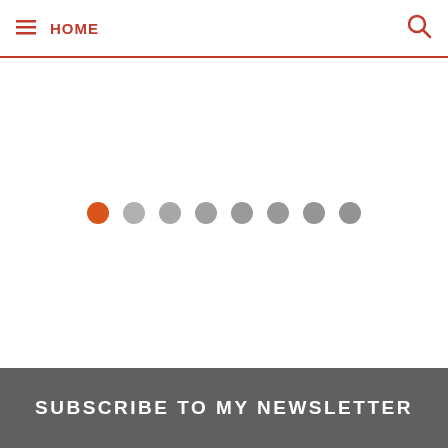HOME
[Figure (other): Slideshow pagination dots: one orange active dot followed by seven grey dots on a white background]
[Figure (photo): Newsletter subscription section with a dark grey overlay photo background showing a person writing, with bold white text reading SUBSCRIBE TO MY NEWSLETTER]